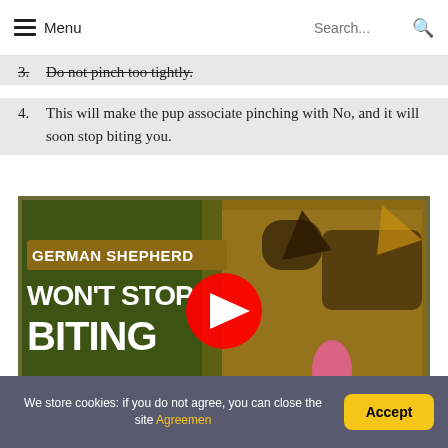Menu | Search...
3.  Do not pinch too tightly.
4.  This will make the pup associate pinching with No, and it will soon stop biting you.
[Figure (screenshot): YouTube video thumbnail for 'German Shepherd Won't Stop Biting' showing a German Shepherd dog with tongue out, with text overlay 'GERMAN SHEPHERD WON'T STOP BITING' and a red YouTube play button in the center.]
We store cookies: if you do not agree, you can close the site Agreemen